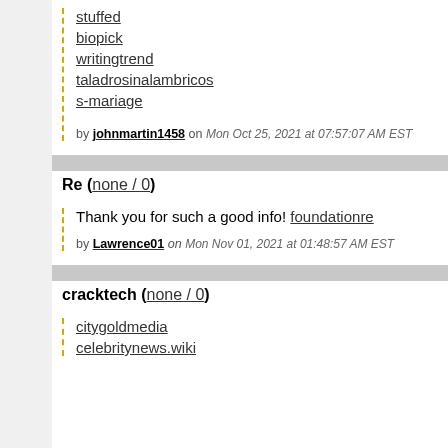stuffed
biopick
writingtrend
taladrosinalambricos
s-mariage
by johnmartin1458 on Mon Oct 25, 2021 at 07:57:07 AM EST
Re (none / 0)
Thank you for such a good info! foundationre
by Lawrence01 on Mon Nov 01, 2021 at 01:48:57 AM EST
cracktech (none / 0)
citygoldmedia
celebritynews.wiki